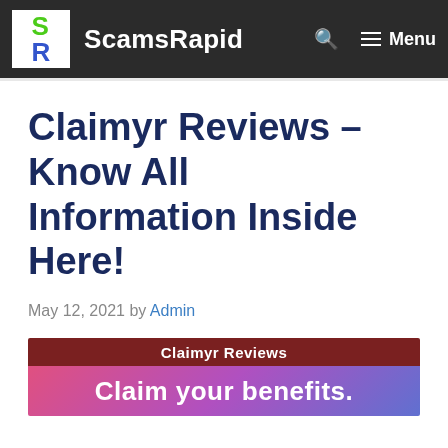ScamsRapid
Claimyr Reviews – Know All Information Inside Here!
May 12, 2021 by Admin
[Figure (illustration): Banner image with dark red top bar reading 'Claimyr Reviews' and a pink-to-purple gradient lower section with text 'Claim your benefits.']